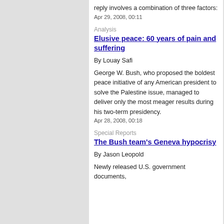reply involves a combination of three factors:
Apr 29, 2008, 00:11
Analysis
Elusive peace: 60 years of pain and suffering
By Louay Safi
George W. Bush, who proposed the boldest peace initiative of any American president to solve the Palestine issue, managed to deliver only the most meager results during his two-term presidency.
Apr 28, 2008, 00:18
Special Reports
The Bush team's Geneva hypocrisy
By Jason Leopold
Newly released U.S. government documents,